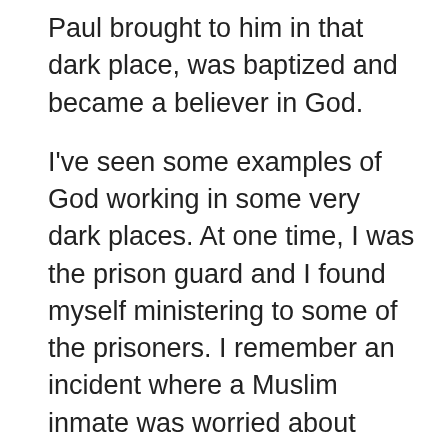Paul brought to him in that dark place, was baptized and became a believer in God.
I've seen some examples of God working in some very dark places. At one time, I was the prison guard and I found myself ministering to some of the prisoners. I remember an incident where a Muslim inmate was worried about something and without thinking, I told him to trust that God wouldn't give him more than he could handle. I'm confident that those